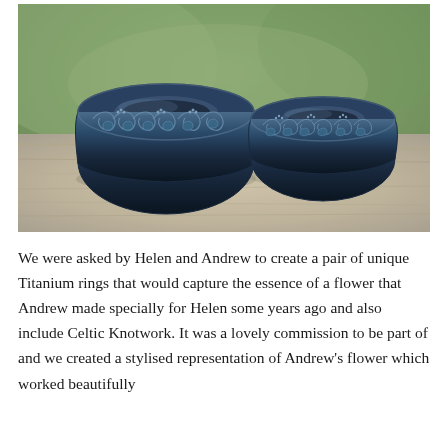[Figure (photo): Two titanium wedding rings with Celtic knotwork and stylised flower patterns, resting on a weathered wooden surface. The rings are dark blue/black in colour with intricate engraved designs featuring intertwined knotwork and thistle-like flower motifs. The larger ring is on the left, the smaller on the right. The background is a blurred green/natural outdoor setting.]
We were asked by Helen and Andrew to create a pair of unique Titanium rings that would capture the essence of a flower that Andrew made specially for Helen some years ago and also include Celtic Knotwork. It was a lovely commission to be part of and we created a stylised representation of Andrew's flower which worked beautifully with the knotwork design and also the ring shape. The finished